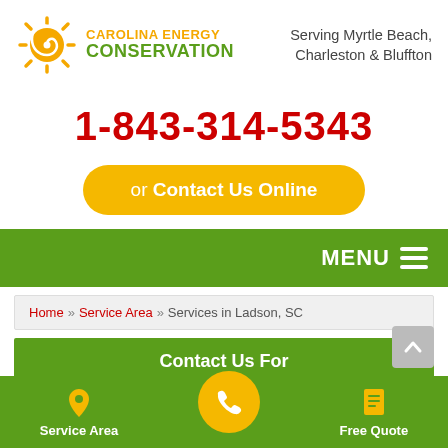[Figure (logo): Carolina Energy Conservation sun logo with yellow/green sun icon and company name text]
Serving Myrtle Beach, Charleston & Bluffton
1-843-314-5343
or Contact Us Online
MENU ≡
Home » Service Area » Services in Ladson, SC
Contact Us For
Service Area
Free Quote